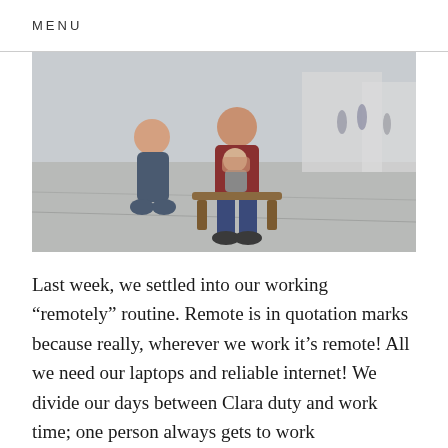MENU
[Figure (photo): A family photo outdoors: a woman crouching on the left smiling, a man sitting on a bench holding a baby in the center, taken in an open plaza with other people visible in the background.]
Last week, we settled into our working “remotely” routine. Remote is in quotation marks because really, wherever we work it’s remote! All we need our laptops and reliable internet! We divide our days between Clara duty and work time; one person always gets to work uninterrupted while the other person gets to play with the …